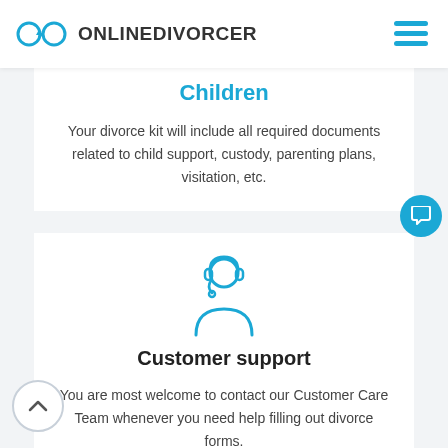[Figure (logo): OnlineDivorcer logo with infinity/rings icon and text ONLINEDIVORCER]
[Figure (other): Hamburger menu icon (three horizontal lines) in teal/blue]
Children
Your divorce kit will include all required documents related to child support, custody, parenting plans, visitation, etc.
[Figure (illustration): Customer support agent icon in teal/blue outline style — person wearing headset]
Customer support
You are most welcome to contact our Customer Care Team whenever you need help filling out divorce forms.